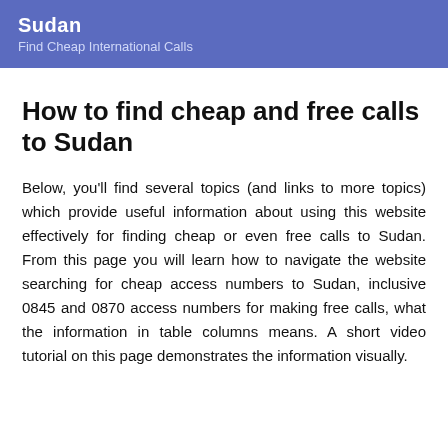Sudan
Find Cheap International Calls
How to find cheap and free calls to Sudan
Below, you'll find several topics (and links to more topics) which provide useful information about using this website effectively for finding cheap or even free calls to Sudan. From this page you will learn how to navigate the website searching for cheap access numbers to Sudan, inclusive 0845 and 0870 access numbers for making free calls, what the information in table columns means. A short video tutorial on this page demonstrates the information visually.